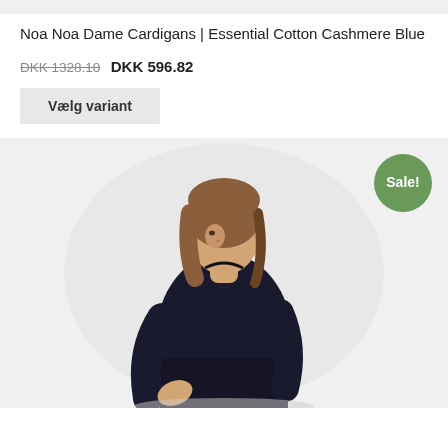Noa Noa Dame Cardigans | Essential Cotton Cashmere Blue
DKK 1328.10  DKK 596.82
Vælg variant
[Figure (photo): Woman wearing a dark navy/black cardigan, viewed from behind/side, with a 'Sale!' badge in green on the upper right corner of the product image.]